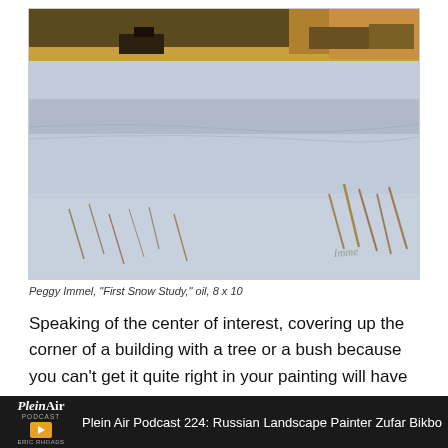[Figure (photo): Oil painting of a snowy winter landscape with farm buildings in the background, sparse dead grasses poking through the snow, and warm golden light on the horizon. Artist signature visible lower right. Painting by Peggy Immel.]
Peggy Immel, "First Snow Study," oil, 8 x 10
Speaking of the center of interest, covering up the corner of a building with a tree or a bush because you can't get it quite right in your painting will have the opposite result you are looking for. Instead of hiding the problem it will act like a
PleinAir PODCAST  ERIC RHOADS  Plein Air Podcast 224: Russian Landscape Painter Zufar Bikbo